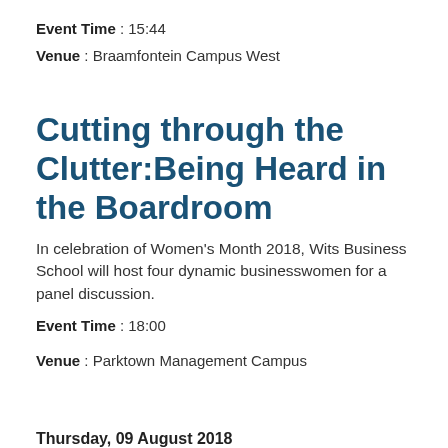Event Time : 15:44
Venue : Braamfontein Campus West
Cutting through the Clutter:Being Heard in the Boardroom
In celebration of Women’s Month 2018, Wits Business School will host four dynamic businesswomen for a panel discussion.
Event Time : 18:00
Venue : Parktown Management Campus
Thursday, 09 August 2018
Exhibition: Origins of Sapiens